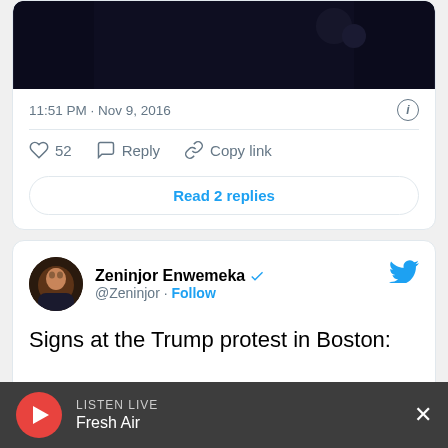[Figure (screenshot): Partial tweet card with dark photo and timestamp 11:51 PM · Nov 9, 2016]
11:51 PM · Nov 9, 2016
52  Reply  Copy link
Read 2 replies
[Figure (screenshot): Tweet by Zeninjor Enwemeka @Zeninjor with text: Signs at the Trump protest in Boston: "One day at a time" "Hope will never be silent"]
Zeninjor Enwemeka @Zeninjor · Follow Signs at the Trump protest in Boston: "One day at a time" "Hope will never be silent"
LISTEN LIVE Fresh Air